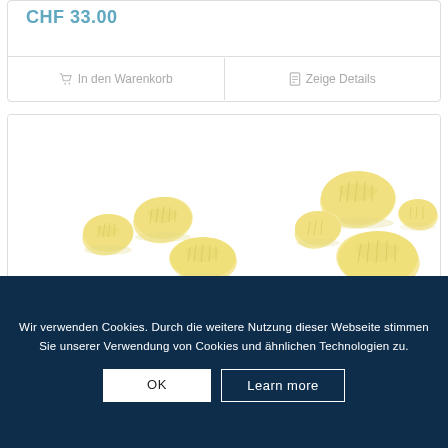CHF 33.00
In den Warenkorb
Zeige Details
[Figure (photo): Gnocchi pasta pieces on white background]
Wir verwenden Cookies. Durch die weitere Nutzung dieser Webseite stimmen Sie unserer Verwendung von Cookies und ähnlichen Technologien zu.
OK
Learn more